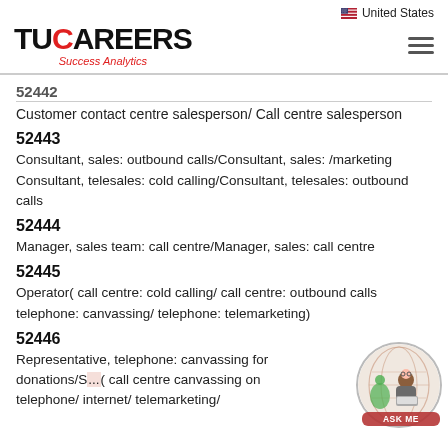United States
[Figure (logo): TuCareers Success Analytics logo with hamburger menu]
52442
Customer contact centre salesperson/ Call centre salesperson
52443
Consultant, sales: outbound calls/Consultant, sales: /marketing Consultant, telesales: cold calling/Consultant, telesales: outbound calls
52444
Manager, sales team: call centre/Manager, sales: call centre
52445
Operator( call centre: cold calling/ call centre: outbound calls telephone: canvassing/ telephone: telemarketing)
52446
Representative, telephone: canvassing for donations/S... call centre canvassing on telephone/ internet/ telemarketing/